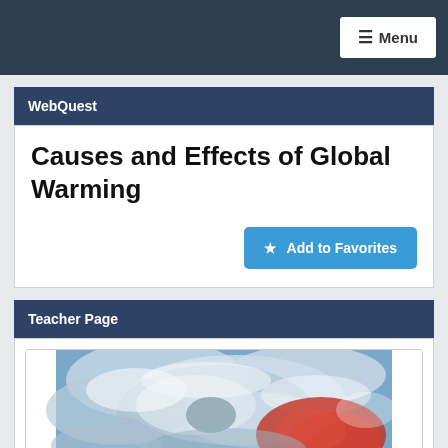≡ Menu
WebQuest
Causes and Effects of Global Warming
★ Add to Favorites
Teacher Page
[Figure (photo): Satellite or aerial photo showing swirling storm clouds in blue and white tones with a red area, likely a visualization of global warming or a hurricane/storm system from space.]